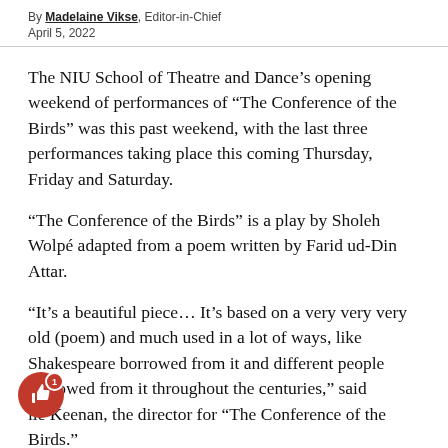By Madelaine Vikse, Editor-in-Chief
April 5, 2022
The NIU School of Theatre and Dance’s opening weekend of performances of “The Conference of the Birds” was this past weekend, with the last three performances taking place this coming Thursday, Friday and Saturday.
“The Conference of the Birds” is a play by Sholeh Wolpé adapted from a poem written by Farid ud-Din Attar.
“It’s a beautiful piece… It’s based on a very very very old (poem) and much used in a lot of ways, like Shakespeare borrowed from it and different people borrowed from it throughout the centuries,” said lie Keenan, the director for “The Conference of the Birds.”